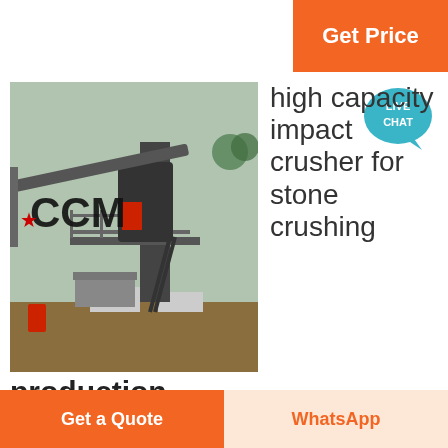Get Price
[Figure (illustration): Live Chat speech bubble icon in teal/blue color with text LIVE CHAT]
[Figure (photo): Industrial stone crushing plant with CCM branding, showing heavy machinery, conveyor belts, and crushing equipment on a construction site]
high capacity impact crusher for stone crushing
production
large capacity hammer crusher for stone australiaKnow More. large capacity hammer crusher for stone australia crushing
Get a Quote
WhatsApp